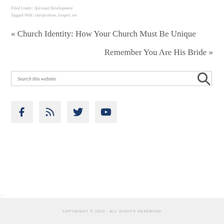Filed Under: Spiritual Development
Tagged With: clarification, Gospel, sin
« Church Identity: How Your Church Must Be Unique
Remember You Are His Bride »
Search this website
[Figure (infographic): Social media icons: Facebook, RSS feed, Twitter, YouTube]
COPYRIGHT © 2022 · ALL RIGHTS RESERVED